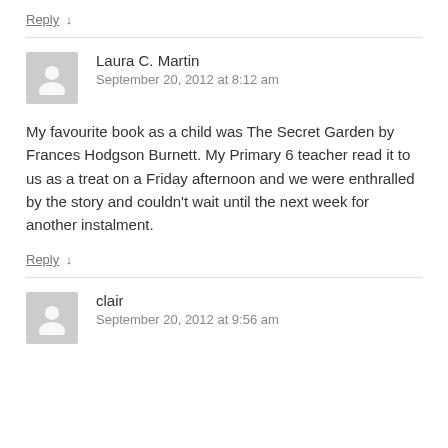Reply ↓
Laura C. Martin
September 20, 2012 at 8:12 am
My favourite book as a child was The Secret Garden by Frances Hodgson Burnett. My Primary 6 teacher read it to us as a treat on a Friday afternoon and we were enthralled by the story and couldn't wait until the next week for another instalment.
Reply ↓
clair
September 20, 2012 at 9:56 am